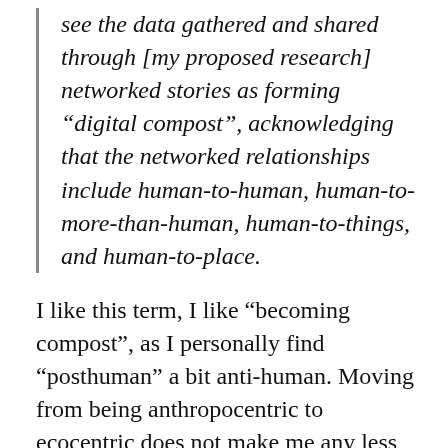see the data gathered and shared through [my proposed research] networked stories as forming “digital compost”, acknowledging that the networked relationships include human-to-human, human-to-more-than-human, human-to-things, and human-to-place.
I like this term, I like “becoming compost”, as I personally find “posthuman” a bit anti-human. Moving from being anthropocentric to ecocentric does not make me any less human. Instead, it encourages me to be aware of all my relations, to connect as best I can with the